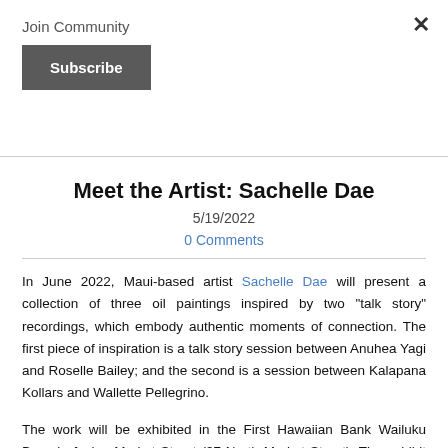Join Community
Subscribe
Meet the Artist: Sachelle Dae
5/19/2022
0 Comments
In June 2022, Maui-based artist Sachelle Dae will present a collection of three oil paintings inspired by two "talk story" recordings, which embody authentic moments of connection. The first piece of inspiration is a talk story session between Anuhea Yagi and Roselle Bailey; and the second is a session between Kalapana Kollars and Wallette Pellegrino.
The work will be exhibited in the First Hawaiian Bank Wailuku Branch, facing Market Street (27 North Market Street). The exhibit area will eventually connect to a new walkway surrounding the Wailuku